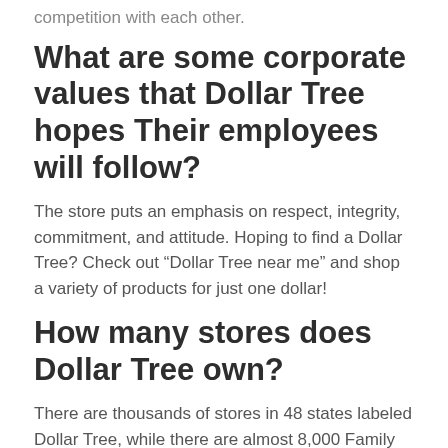competition with each other.
What are some corporate values that Dollar Tree hopes Their employees will follow?
The store puts an emphasis on respect, integrity, commitment, and attitude. Hoping to find a Dollar Tree? Check out “Dollar Tree near me” and shop a variety of products for just one dollar!
How many stores does Dollar Tree own?
There are thousands of stores in 48 states labeled Dollar Tree, while there are almost 8,000 Family Dollar stores in the US. The Dollar store industry